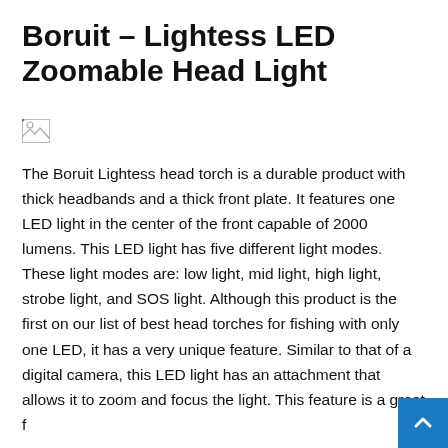Boruit – Lightess LED Zoomable Head Light
[Figure (photo): Broken/missing product image placeholder]
The Boruit Lightess head torch is a durable product with thick headbands and a thick front plate. It features one LED light in the center of the front capable of 2000 lumens. This LED light has five different light modes. These light modes are: low light, mid light, high light, strobe light, and SOS light. Although this product is the first on our list of best head torches for fishing with only one LED, it has a very unique feature. Similar to that of a digital camera, this LED light has an attachment that allows it to zoom and focus the light. This feature is a great f